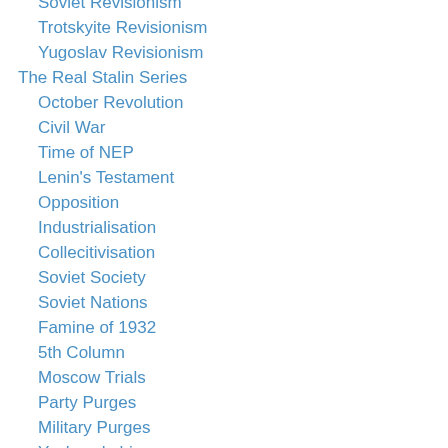Soviet Revisionism
Trotskyite Revisionism
Yugoslav Revisionism
The Real Stalin Series
October Revolution
Civil War
Time of NEP
Lenin's Testament
Opposition
Industrialisation
Collecitivisation
Soviet Society
Soviet Nations
Famine of 1932
5th Column
Moscow Trials
Party Purges
Military Purges
Yezhovshchina
GULag